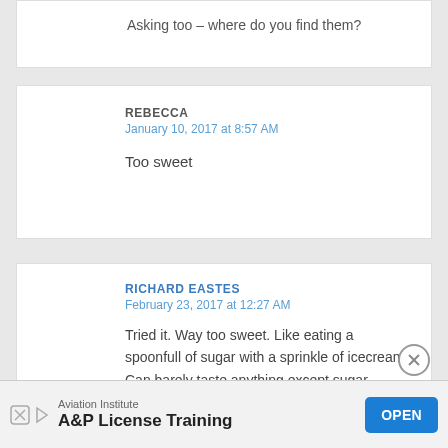Asking too – where do you find them?
REBECCA
January 10, 2017 at 8:57 AM
Too sweet
RICHARD EASTES
February 23, 2017 at 12:27 AM
Tried it. Way too sweet. Like eating a spoonfull of sugar with a sprinkle of icecream. Can barely taste anything except sugar. Waste of money. Now I'm craving a
[Figure (other): Advertisement banner: Aviation Institute A&P License Training with OPEN button and close icon]